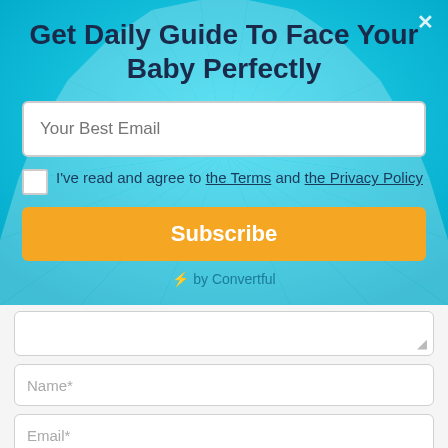Get Daily Guide To Face Your Baby Perfectly
Your Best Email
I've read and agree to the Terms and the Privacy Policy
Subscribe
⚡ by Convertful
Name*
Email*
Website